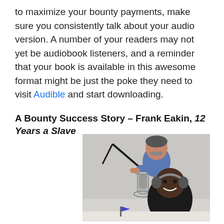to maximize your bounty payments, make sure you consistently talk about your audio version. A number of your readers may not yet be audiobook listeners, and a reminder that your book is available in this awesome format might be just the poke they need to visit Audible and start downloading.
A Bounty Success Story – Frank Eakin, 12 Years a Slave
[Figure (photo): Two men in what appears to be a recording studio. One man standing behind a large condenser microphone on a boom arm, wearing a blue polo shirt. Another man seated in front wearing headphones and a dark shirt with text 'ErACism'.]